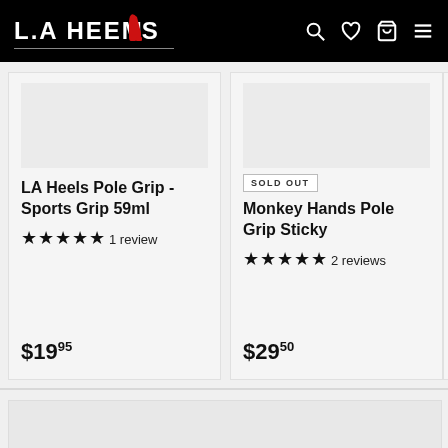LA HEELS
[Figure (screenshot): Product card: LA Heels Pole Grip - Sports Grip 59ml, 5 stars, 1 review, $19.95]
[Figure (screenshot): Product card: Monkey Hands Pole Grip Sticky, SOLD OUT badge, 5 stars, 2 reviews, $29.50]
[Figure (screenshot): Partial product card: Koala..., star rating, review count, $20.00]